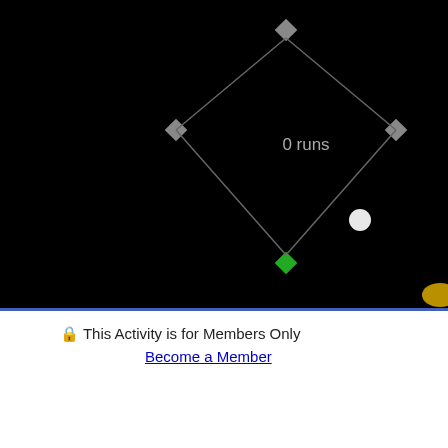[Figure (screenshot): Baseball game screenshot on black background showing a diamond shape with gray corner markers and '0 runs' text in center, a white ball, and a green square at bottom. Blue border around the game area.]
🔒 This Activity is for Members Only
Become a Member
You may also be interested in one o
[Figure (screenshot): GALAX game thumbnail - retro space invaders style game with 'GALAX' in green pixel font on black starfield background, showing alien sprites in red, green, and orange/yellow.]
GALAX
[Figure (screenshot): Partially visible game card on right edge showing blue badge and orange fish/character on yellow background.]